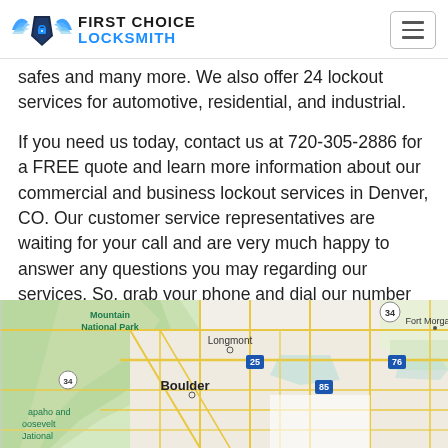First Choice Locksmith
safes and many more. We also offer 24 lockout services for automotive, residential, and industrial.
If you need us today, contact us at 720-305-2886 for a FREE quote and learn more information about our commercial and business lockout services in Denver, CO. Our customer service representatives are waiting for your call and are very much happy to answer any questions you may regarding our services. So, grab your phone and dial our number to free yourself of stress.
[Figure (map): Google map showing Boulder, Longmont, Fort Morgan area of Colorado with highway markers 34, 25, 76, 85 visible. Shows Mountain National Park, Arapaho and Roosevelt National on the left side.]